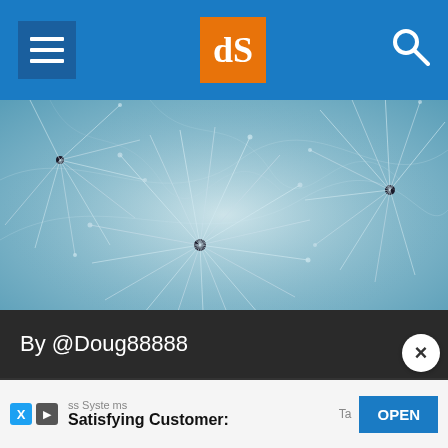dPS navigation header with hamburger menu, dPS logo, and search icon
[Figure (photo): Close-up teal/blue-toned photograph of dandelion seed heads with fine wispy strands radiating from dark centers, artistic macro photography]
By @Doug88888
[Figure (screenshot): Advertisement bar at bottom: ss Systems - Satisfying Customers - with OPEN button, social media icons X and play button]